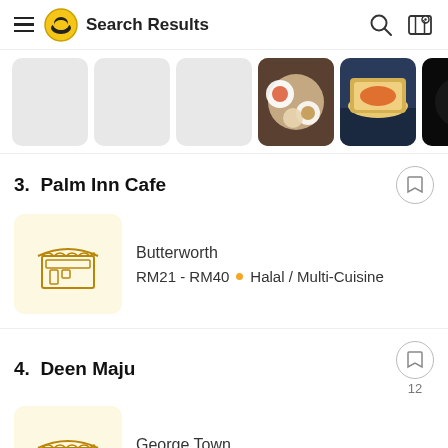Search Results
[Figure (screenshot): Horizontal scrollable image strip showing restaurant food photos. First 3 are gray placeholders, followed by 3 food images, and the last has a dark overlay with the number 7.]
3.  Palm Inn Cafe
[Figure (illustration): Store/shop icon in a light yellow rounded square box]
Butterworth
RM21 - RM40  •  Halal / Multi-Cuisine
4.  Deen Maju
[Figure (illustration): Store/shop icon in a light yellow rounded square box]
George Town
RM11 - RM20  •  Halal / Indian